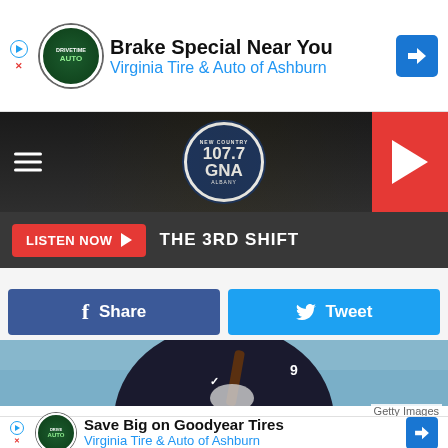[Figure (screenshot): Advertisement banner: 'Brake Special Near You / Virginia Tire & Auto of Ashburn' with Drivetime Auto logo and navigation icon]
[Figure (screenshot): Radio station header: 107.7 GNA New Country Albany logo with hamburger menu and red play button]
[Figure (screenshot): Listen Now button with red background and 'THE 3RD SHIFT' text on dark bar]
[Figure (screenshot): Social share buttons: blue Facebook Share button and cyan Twitter Tweet button]
[Figure (photo): Baseball player in dark navy Yankees Nike shirt holding a bat, wearing white batting gloves. Stadium seats visible in background. Getty Images credit.]
Howev...yers
[Figure (screenshot): Advertisement banner: 'Save Big on Goodyear Tires / Virginia Tire & Auto of Ashburn' with Drivetime Auto logo and navigation icon]